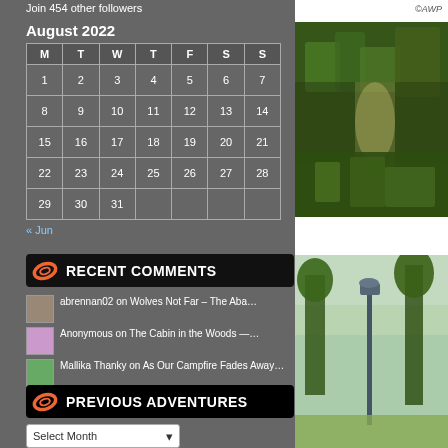Join 454 other followers
| M | T | W | T | F | S | S |
| --- | --- | --- | --- | --- | --- | --- |
| 1 | 2 | 3 | 4 | 5 | 6 | 7 |
| 8 | 9 | 10 | 11 | 12 | 13 | 14 |
| 15 | 16 | 17 | 18 | 19 | 20 | 21 |
| 22 | 23 | 24 | 25 | 26 | 27 | 28 |
| 29 | 30 | 31 |  |  |  |  |
« Jun
RECENT COMMENTS
abrennan02 on Wolves Not Far – The Aba…
Anonymous on The Cabin in the Woods —…
Mallika Thanky on As Our Campfire Fades Away…
PREVIOUS ADVENTURES
Select Month
©AWP
[Figure (photo): Ivy-covered wall or garden with green foliage]
[Figure (photo): Outdoor scene with trees and what appears to be a lamp post]